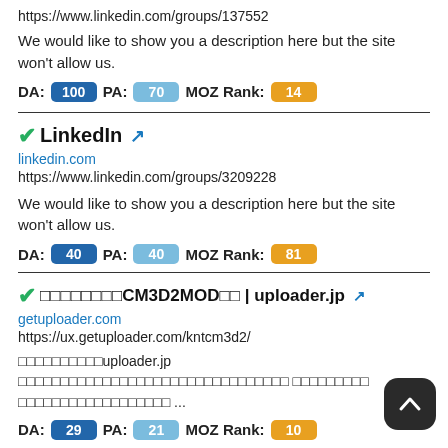https://www.linkedin.com/groups/137552
We would like to show you a description here but the site won't allow us.
DA: 100  PA: 70  MOZ Rank: 14
✔LinkedIn 🔗
linkedin.com
https://www.linkedin.com/groups/3209228
We would like to show you a description here but the site won't allow us.
DA: 40  PA: 40  MOZ Rank: 81
✔□□□□□□□□CM3D2MOD□□ | uploader.jp 🔗
getuploader.com
https://ux.getuploader.com/kntcm3d2/
□□□□□□□□□□uploader.jp □□□□□□□□□□□□□□□□□□□□□□□□□□□□□□□□□□□□□□□□□□□□□□□□□□□□□□□□□□□□□□□□ ...
DA: 29  PA: 21  MOZ Rank: 10